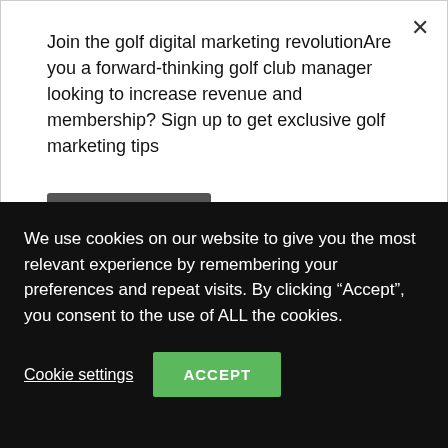Join the golf digital marketing revolutionAre you a forward-thinking golf club manager looking to increase revenue and membership? Sign up to get exclusive golf marketing tips
Sign me up
[Figure (logo): South Essex Golf Club circular logo]
South Essex Golf Club
31. 5. 2021 at 9:00 · 🌐
South Essex Golf Club is an established venue for challenging and rewarding golf in a stunning setting, and offers a friendly and professional clubhouse service 🏌️
We welcome groups and Golf Societies at South Essex Golf Club
We use cookies on our website to give you the most relevant experience by remembering your preferences and repeat visits. By clicking "Accept", you consent to the use of ALL the cookies.
Cookie settings
ACCEPT